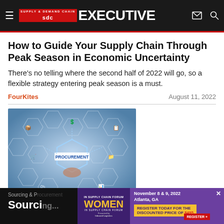Supply & Demand Chain Executive
How to Guide Your Supply Chain Through Peak Season in Economic Uncertainty
There's no telling where the second half of 2022 will go, so a flexible strategy entering peak season is a must.
FourKites    August 11, 2022
[Figure (photo): Procurement concept image showing a hand touching a hexagonal digital interface with the word PROCUREMENT and connected supply chain icons]
Sourcing & Procurement
Sourcing
[Figure (infographic): Advertisement banner for Women in Supply Chain Forum, November 8 & 9, 2022, Atlanta, GA. Register today for the discounted price of $495.]